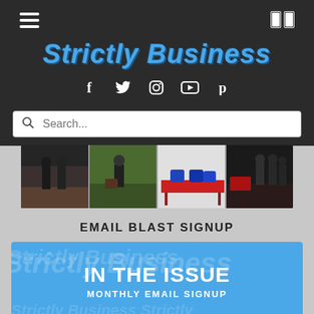Strictly Business — navigation header with menu icon, book icon, site title, social icons, and search bar
[Figure (photo): Horizontal photo strip showing four images of people at what appears to be an outdoor business/community event]
EMAIL BLAST SIGNUP
[Figure (infographic): Blue signup card with text 'IN THE ISSUE' and 'MONTHLY EMAIL SIGNUP' on a blue background with watermark-style Strictly Business branding]